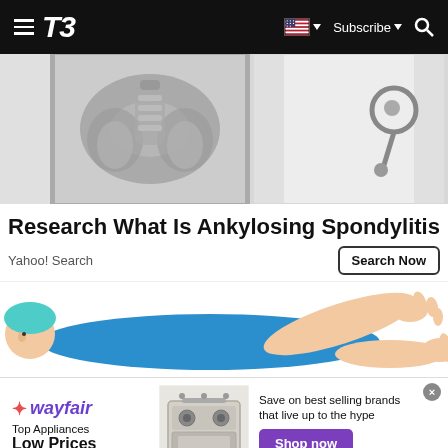T3 — Subscribe | Search
[Figure (photo): Two images side by side: left shows an X-ray of a pelvis/spine, right shows a doctor's stethoscope on white coat]
Research What Is Ankylosing Spondylitis
Yahoo! Search
[Figure (illustration): Cartoon illustration of a person lying down, full body, wearing blue clothing]
[Figure (illustration): Wayfair advertisement banner showing Top Appliances Low Prices with an image of a stove/oven, Save on best selling brands that live up to the hype, Shop now button]